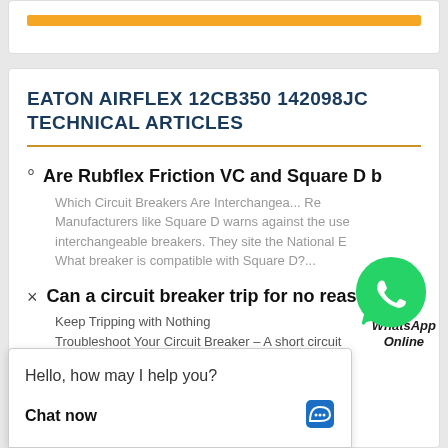[Figure (other): Orange bar/button at top of card]
EATON AIRFLEX 12CB350 142098JC TECHNICAL ARTICLES
Are Rubflex Friction VC and Square D b
Which Circuit Breakers Are Interchangea... Re Manufacturers like Square D warns against the use interchangeable breakers. They site the National E What breaker is compatible with Square D?...
Can a circuit breaker trip for no reason?
Keep Tripping with Nothing Troubleshoot Your Circuit Breaker – A short circuit due to a large amount of current flow through the s -...
[Figure (illustration): WhatsApp green phone icon with WhatsApp Online label]
[Figure (screenshot): Live chat widget popup: Hello, how may I help you? / Chat now button with chat icon]